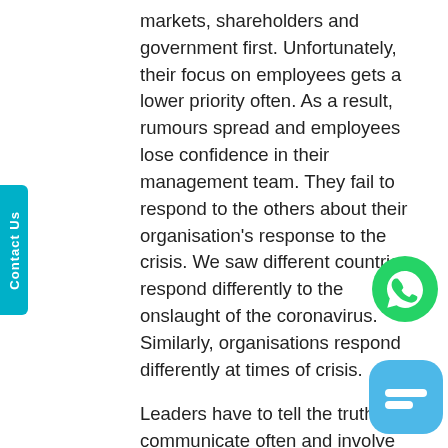markets, shareholders and government first. Unfortunately, their focus on employees gets a lower priority often. As a result, rumours spread and employees lose confidence in their management team. They fail to respond to the others about their organisation's response to the crisis. We saw different countries respond differently to the onslaught of the coronavirus. Similarly, organisations respond differently at times of crisis.
Leaders have to tell the truth, communicate often and involve their employees in generating ideas of dealing with the crisis. At the times of crisis, leaders have to get closer to the employees; reward and recognise hard work and outstanding efforts of individuals and showcase each person who walks the extra mile to every nook and corner of the organisation.
[Figure (logo): WhatsApp green phone icon]
[Figure (logo): Blue chat/message bubble icon]